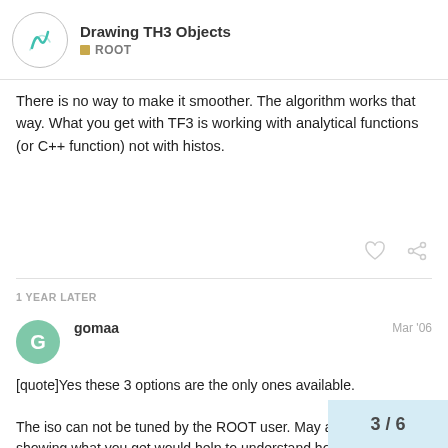Drawing TH3 Objects — ROOT
There is no way to make it smoother. The algorithm works that way. What you get with TF3 is working with analytical functions (or C++ function) not with histos.
1 YEAR LATER
gomaa   Mar '06
[quote]Yes these 3 options are the only ones available.

The iso can not be tuned by the ROOT user. May a small example showing what you get would help to understand how this option should be impoved ?

I guess, for the future, a real 3D visualisati... would surely be the best way to go.[/quote
3 / 6